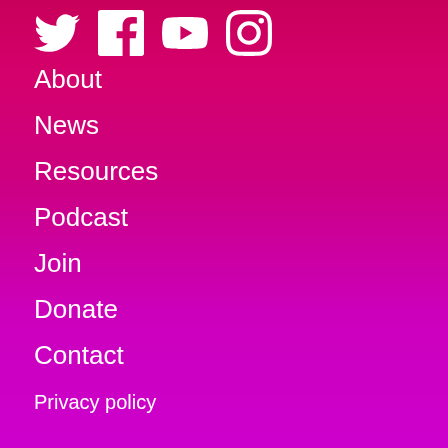[Figure (other): Social media icons: Twitter, Facebook, YouTube, Instagram — white icons on gradient background]
About
News
Resources
Podcast
Join
Donate
Contact
Privacy policy